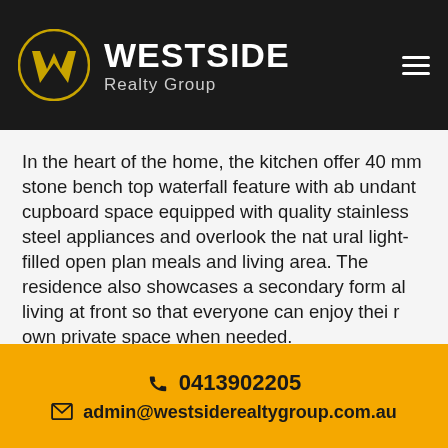[Figure (logo): Westside Realty Group logo — gold W chevron in a gold circle, with 'WESTSIDE' in bold white and 'Realty Group' in grey on black header bar]
In the heart of the home, the kitchen offer 40 mm stone bench top waterfall feature with abundant cupboard space equipped with quality stainless steel appliances and overlook the natural light-filled open plan meals and living area. The residence also showcases a secondary formal living at front so that everyone can enjoy their own private space when needed.
Highlights:
0413902205 | admin@westsiderealtygroup.com.au